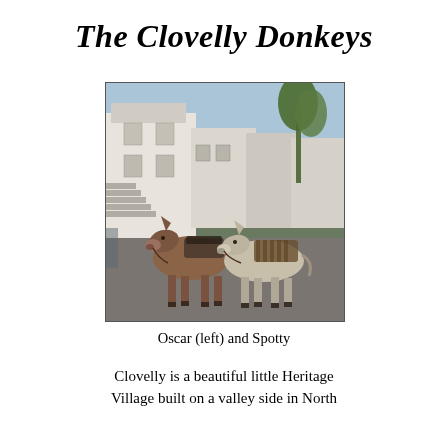The Clovelly Donkeys
[Figure (photo): Two donkeys standing in a cobbled street in Clovelly village, with white-painted houses and steps in the background. The left donkey is darker brown, the right donkey is lighter/grey. Both have saddle packs.]
Oscar (left) and Spotty
Clovelly is a beautiful little Heritage Village built on a valley side in North